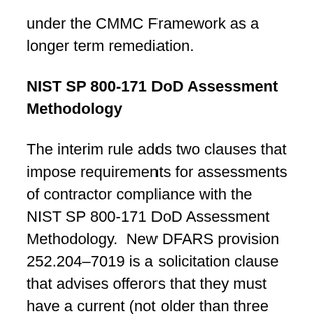under the CMMC Framework as a longer term remediation.
NIST SP 800-171 DoD Assessment Methodology
The interim rule adds two clauses that impose requirements for assessments of contractor compliance with the NIST SP 800-171 DoD Assessment Methodology.  New DFARS provision 252.204–7019 is a solicitation clause that advises offerors that they must have a current (not older than three years) assessment on record in a Government database called the Supplier Performance Risk System (SPRS).  This clause is required in all DoD solicitations except for those solely for the acquisition of commercially available